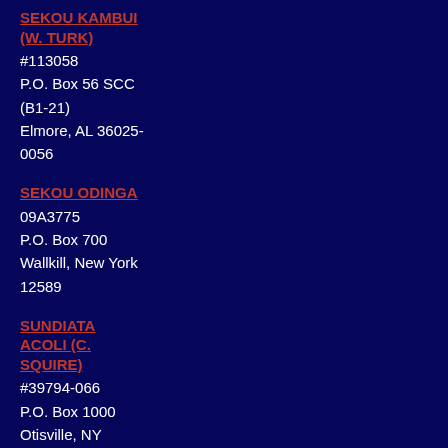SEKOU KAMBUI
(W. TURK)
#113058
P.O. Box 56 SCC
(B1-21)
Elmore, AL 36025-0056
SEKOU ODINGA
09A3775
P.O. Box 700
Wallkill, New York 12589
SUNDIATA ACOLI (C. SQUIRE)
#39794-066
P.O. Box 1000
Otisville, NY 10963